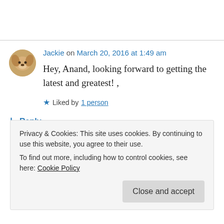[Figure (photo): Circular avatar photo of a dog (cocker spaniel) used as a commenter profile picture]
Jackie on March 20, 2016 at 1:49 am
Hey, Anand, looking forward to getting the latest and greatest! ,
★ Liked by 1 person
↳ Reply
Privacy & Cookies: This site uses cookies. By continuing to use this website, you agree to their use.
To find out more, including how to control cookies, see here: Cookie Policy
Close and accept